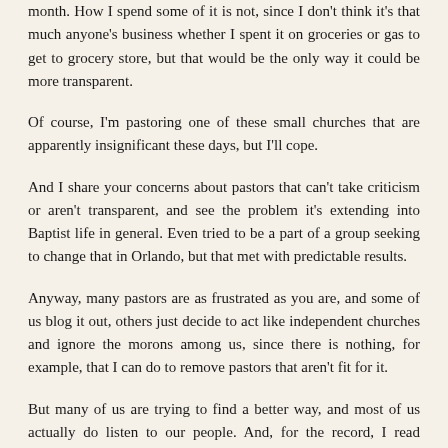month. How I spend some of it is not, since I don't think it's that much anyone's business whether I spent it on groceries or gas to get to grocery store, but that would be the only way it could be more transparent.
Of course, I'm pastoring one of these small churches that are apparently insignificant these days, but I'll cope.
And I share your concerns about pastors that can't take criticism or aren't transparent, and see the problem it's extending into Baptist life in general. Even tried to be a part of a group seeking to change that in Orlando, but that met with predictable results.
Anyway, many pastors are as frustrated as you are, and some of us blog it out, others just decide to act like independent churches and ignore the morons among us, since there is nothing, for example, that I can do to remove pastors that aren't fit for it.
But many of us are trying to find a better way, and most of us actually do listen to our people. And, for the record, I read anonymous letters. Western society, you don't know it's anonymous until you get to the end, that's where the signature is (or isn't). I don't respond well to name-calling though, so just